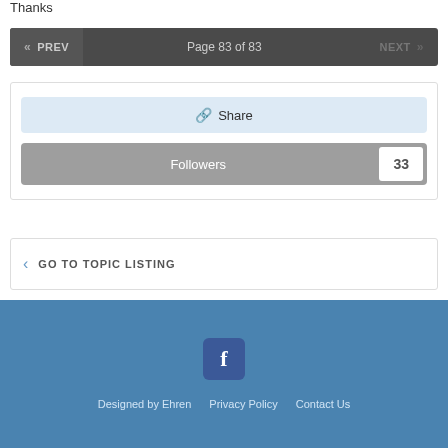Thanks
Page 83 of 83
Share
Followers 33
GO TO TOPIC LISTING
Designed by Ehren  Privacy Policy  Contact Us